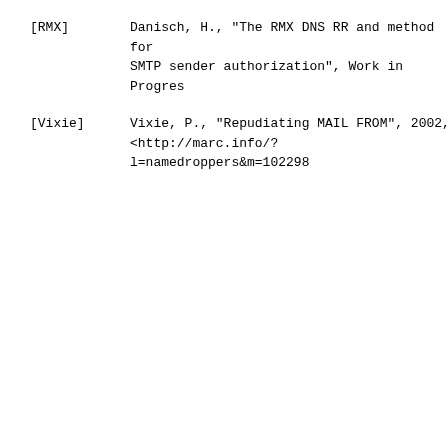[RMX]        Danisch, H., "The RMX DNS RR and method for SMTP sender authorization", Work in Progress.
[Vixie]      Vixie, P., "Repudiating MAIL FROM", 2002, <http://marc.info/?l=namedroppers&m=10222981...